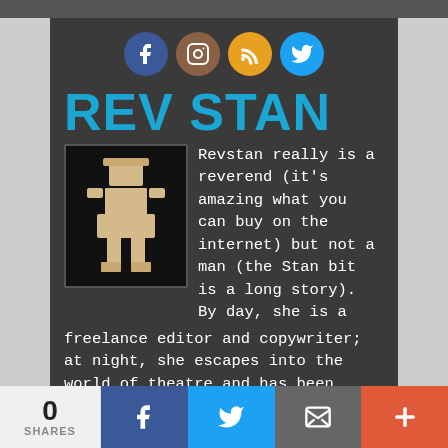[Figure (other): Social media icons: Facebook (blue circle), Instagram (brown circle), RSS (orange circle), Twitter (cyan circle)]
REV STAN
[Figure (photo): Pixel-art style figure of a person/character made from light-colored material against a black background]
Revstan really is a reverend (it's amazing what you can buy on the internet) but not a man (the Stan bit is a long story). By day, she is a freelance editor and copywriter; at night, she escapes into the world of theatre and has been blogging about it at theatre.revstan.com since 2007. She says: “I’ll watch pretty much anything, from
0 SHARES  [Facebook] [Twitter] [Email] [More]